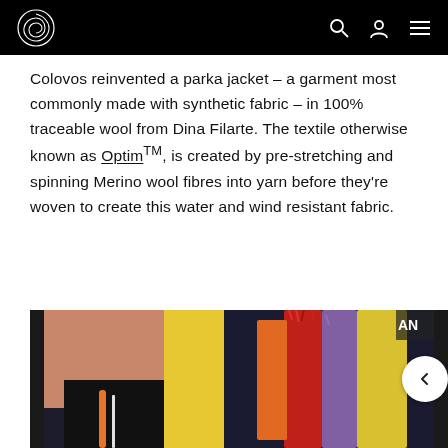Colovos website header with logo and navigation icons
Colovos reinvented a parka jacket – a garment most commonly made with synthetic fabric – in 100% traceable wool from Dina Filarte. The textile otherwise known as Optim™, is created by pre-stretching and spinning Merino wool fibres into yarn before they're woven to create this water and wind resistant fabric.
[Figure (photo): Close-up photograph of a person wearing a colorful jacket with red, orange, purple and yellow fur/fleece stripes, standing outdoors in a fashion context]